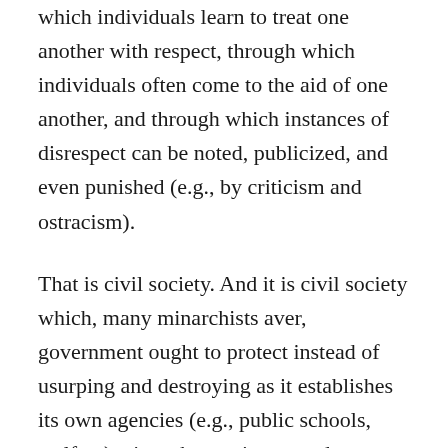which individuals learn to treat one another with respect, through which individuals often come to the aid of one another, and through which instances of disrespect can be noted, publicized, and even punished (e.g., by criticism and ostracism).
That is civil society. And it is civil society which, many minarchists aver, government ought to protect instead of usurping and destroying as it establishes its own agencies (e.g., public schools, welfare), gives them primary and even sole jurisdiction in many matters, and funds them with tax money that could have gone to private institutions. Moreover, some minarchists aver that government ought to tolerate a broad range of accepted behaviors across the various institutions of civil society, as long as government also protects the negative rights of association and exit: the right to associate with persons